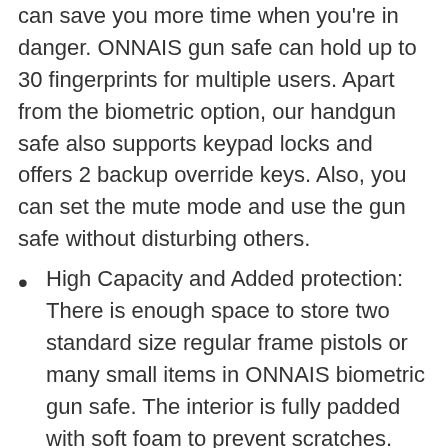can save you more time when you're in danger. ONNAIS gun safe can hold up to 30 fingerprints for multiple users. Apart from the biometric option, our handgun safe also supports keypad locks and offers 2 backup override keys. Also, you can set the mute mode and use the gun safe without disturbing others.
High Capacity and Added protection: There is enough space to store two standard size regular frame pistols or many small items in ONNAIS biometric gun safe. The interior is fully padded with soft foam to prevent scratches. You can use the steel cable to secure the gun safe to furniture or mount it on the table by using the provided screws.